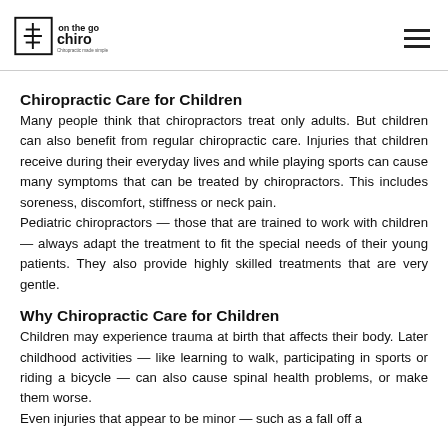on the go chiro — Chiropractic made simple
Chiropractic Care for Children
Many people think that chiropractors treat only adults. But children can also benefit from regular chiropractic care. Injuries that children receive during their everyday lives and while playing sports can cause many symptoms that can be treated by chiropractors. This includes soreness, discomfort, stiffness or neck pain.
Pediatric chiropractors — those that are trained to work with children — always adapt the treatment to fit the special needs of their young patients. They also provide highly skilled treatments that are very gentle.
Why Chiropractic Care for Children
Children may experience trauma at birth that affects their body. Later childhood activities — like learning to walk, participating in sports or riding a bicycle — can also cause spinal health problems, or make them worse.
Even injuries that appear to be minor — such as a fall off a